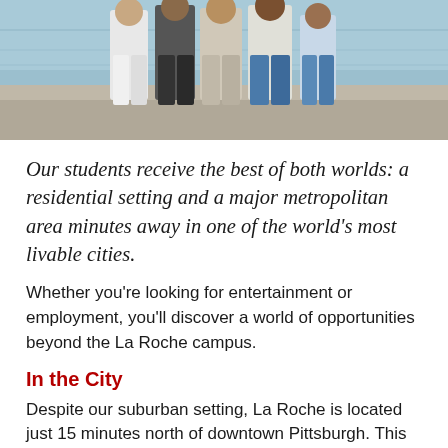[Figure (photo): Group of students walking together outdoors near water]
Our students receive the best of both worlds: a residential setting and a major metropolitan area minutes away in one of the world's most livable cities.
Whether you're looking for entertainment or employment, you'll discover a world of opportunities beyond the La Roche campus.
In the City
Despite our suburban setting, La Roche is located just 15 minutes north of downtown Pittsburgh. This means you'll find all the advantages of a small school, but with big city amenities.